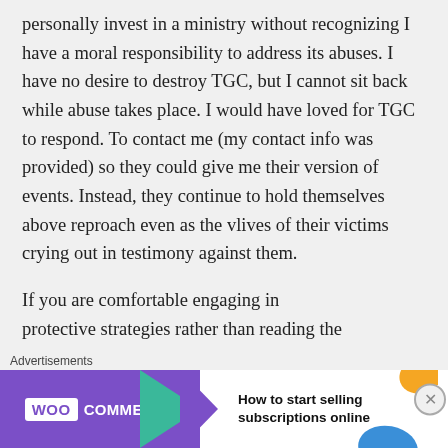personally invest in a ministry without recognizing I have a moral responsibility to address its abuses. I have no desire to destroy TGC, but I cannot sit back while abuse takes place. I would have loved for TGC to respond. To contact me (my contact info was provided) so they could give me their version of events. Instead, they continue to hold themselves above reproach even as the vlives of their victims crying out in testimony against them.
If you are comfortable engaging in protective strategies rather than reading the
[Figure (screenshot): WooCommerce advertisement banner: purple left section with WooCommerce logo and teal arrow, white right section with text 'How to start selling subscriptions online' and orange and blue decorative shapes]